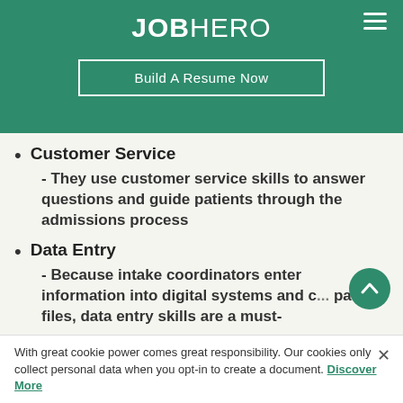JOBHERO
Build A Resume Now
Customer Service - They use customer service skills to answer questions and guide patients through the admissions process
Data Entry - Because intake coordinators enter information into digital systems and c... patient files, data entry skills are a must-
With great cookie power comes great responsibility. Our cookies only collect personal data when you opt-in to create a document. Discover More ×